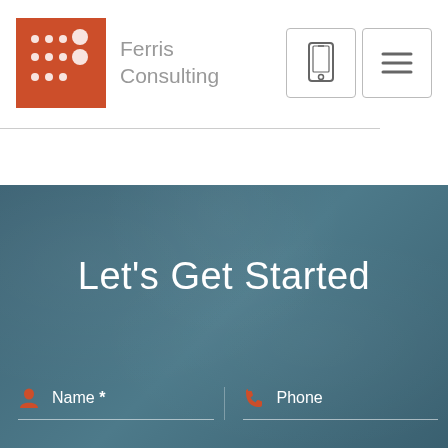[Figure (logo): Ferris Consulting orange logo with dot grid pattern]
Ferris Consulting
[Figure (other): Navigation buttons: mobile icon and hamburger menu icon]
Let's Get Started
Name *
Phone